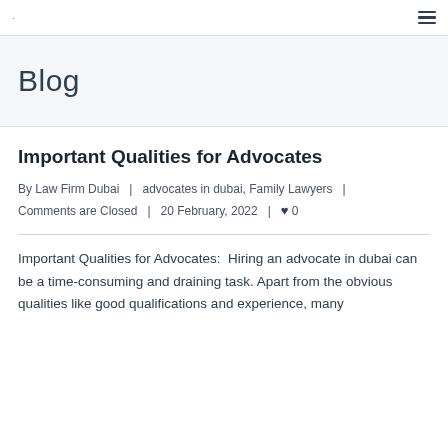· ≡
Blog
Important Qualities for Advocates
By Law Firm Dubai | advocates in dubai, Family Lawyers | Comments are Closed | 20 February, 2022 | ♥ 0
Important Qualities for Advocates:  Hiring an advocate in dubai can be a time-consuming and draining task. Apart from the obvious qualities like good qualifications and experience, many